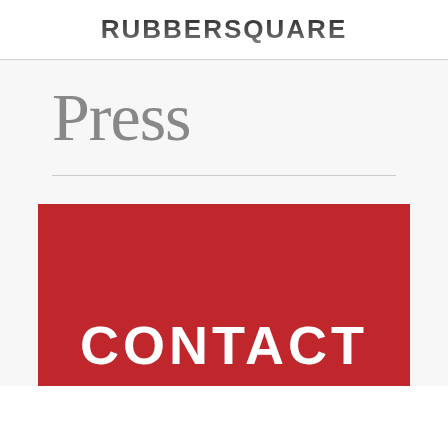RUBBERSQUARE
Press
[Figure (illustration): Red banner with white bold text reading CONTACT]